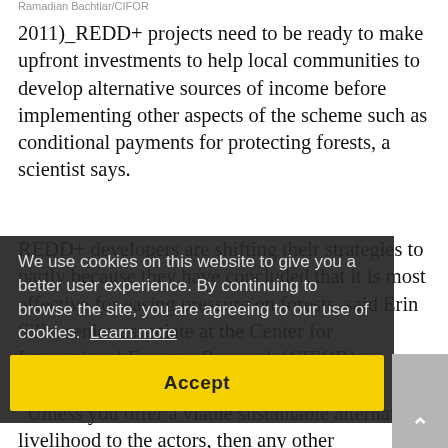Ramadian Bachtiar/CIFOR
2011)_REDD+ projects need to be ready to make upfront investments to help local communities to develop alternative sources of income before implementing other aspects of the scheme such as conditional payments for protecting forests, a scientist says.
REDD+ developers are shifting their strategies to partly because they have concluded that it is most effective for easing pressure on forests, said Erin Sills, senior associate at the Center for International Forestry Research (CIFOR).
We use cookies on this website to give you a better user experience. By continuing to browse the site, you are agreeing to our use of cookies. Learn more
Accept
“Unless you offer a viable sustainable alternative livelihood to the actors, then any other intervention